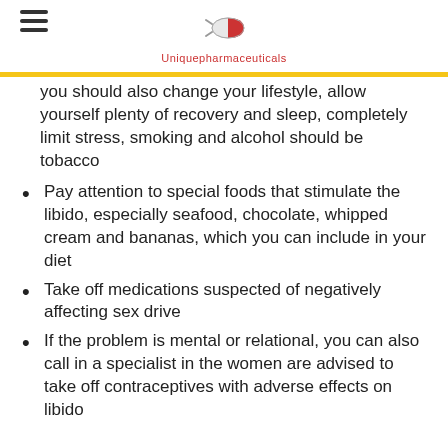Uniquepharmaceuticals
you should also change your lifestyle, allow yourself plenty of recovery and sleep, completely limit stress, smoking and alcohol should be tobacco
Pay attention to special foods that stimulate the libido, especially seafood, chocolate, whipped cream and bananas, which you can include in your diet
Take off medications suspected of negatively affecting sex drive
If the problem is mental or relational, you can also call in a specialist in the women are advised to take off contraceptives with adverse effects on libido